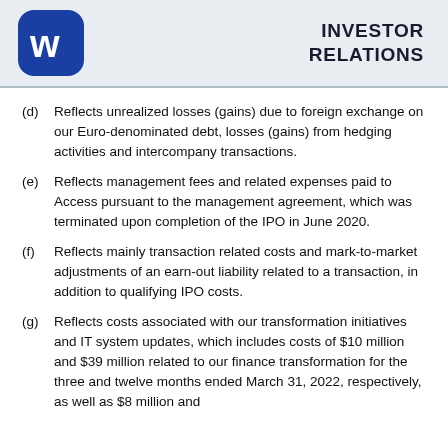INVESTOR RELATIONS
(d) Reflects unrealized losses (gains) due to foreign exchange on our Euro-denominated debt, losses (gains) from hedging activities and intercompany transactions.
(e) Reflects management fees and related expenses paid to Access pursuant to the management agreement, which was terminated upon completion of the IPO in June 2020.
(f) Reflects mainly transaction related costs and mark-to-market adjustments of an earn-out liability related to a transaction, in addition to qualifying IPO costs.
(g) Reflects costs associated with our transformation initiatives and IT system updates, which includes costs of $10 million and $39 million related to our finance transformation for the three and twelve months ended March 31, 2022, respectively, as well as $8 million and